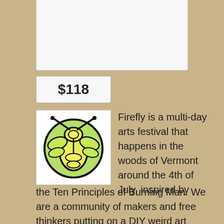June 28 @ 12:00 pm - July 4 @ 12:00 pm
$118
[Figure (logo): Firefly Arts Festival logo: a stylized firefly insect in yellow-green circular design with black outlines]
Firefly is a multi-day arts festival that happens in the woods of Vermont around the 4th of July, inspired by the Ten Principles of Burning Man. We are a community of makers and free thinkers putting on a DIY weird art party, not a commercial music festival. Firefly’s mission is to foster a collaborative environment and community for participatory arts,